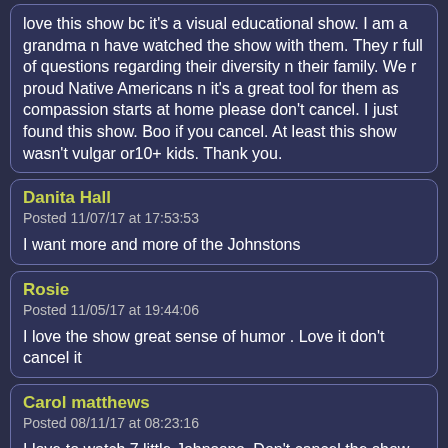love this show bc it's a visual educational show. I am a grandma n have watched the show with them. They r full of questions regarding their diversity n their family. We r proud Native Americans n it's a great tool for them as compassion starts at home please don't cancel. I just found this show. Boo if you cancel. At least this show wasn't vulgar or10+ kids. Thank you.
Danita Hall
Posted 11/07/17 at 17:53:53

I want more and more of the Johnstons
Rosie
Posted 11/05/17 at 19:44:06

I love the show great sense of humor . Love it don't cancel it
Carol matthews
Posted 08/11/17 at 08:23:16

I love to watch 7 little Johnsons. Don't cancel the show.
Edith
Posted 07/13/17 at 16:58:48